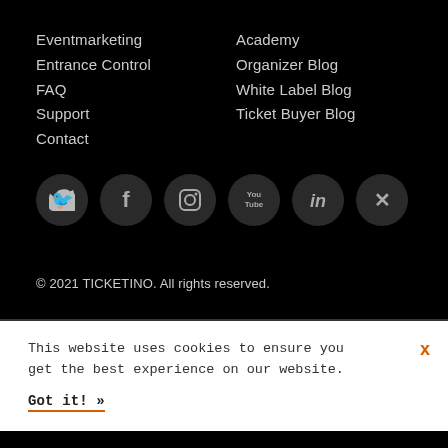Eventmarketing
Entrance Control
FAQ
Support
Contact
Academy
Organizer Blog
White Label Blog
Ticket Buyer Blog
[Figure (other): Social media icons row: Twitter, Facebook, Instagram, YouTube, LinkedIn, XING]
© 2021 TICKETINO. All rights reserved.
This website uses cookies to ensure you get the best experience on our website.
Got it! »